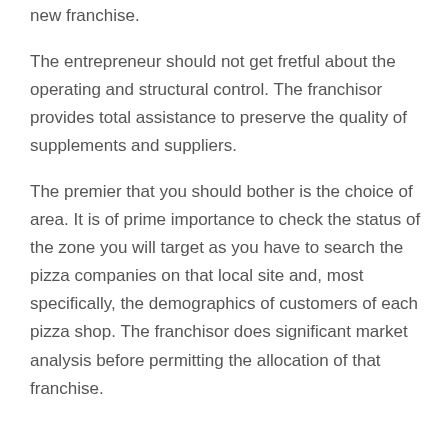new franchise.
The entrepreneur should not get fretful about the operating and structural control. The franchisor provides total assistance to preserve the quality of supplements and suppliers.
The premier that you should bother is the choice of area. It is of prime importance to check the status of the zone you will target as you have to search the pizza companies on that local site and, most specifically, the demographics of customers of each pizza shop. The franchisor does significant market analysis before permitting the allocation of that franchise.